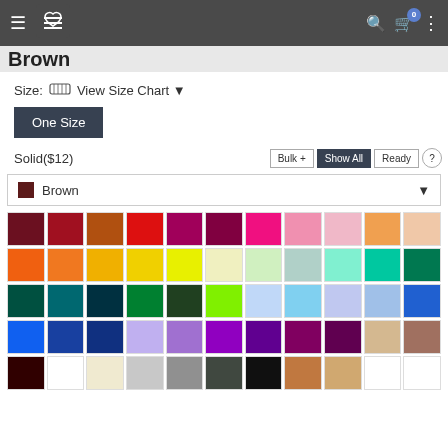Navigation bar with hamburger menu, logo (heart icon), search, cart (0), more options
Brown
Size:  View Size Chart
One Size
Solid($12)
Bulk +  Show All  Ready  ?
Brown (color dropdown)
[Figure (other): Color swatch grid with 5 rows of color options including various shades: reds, oranges, yellows, greens, blues, purples, neutrals]